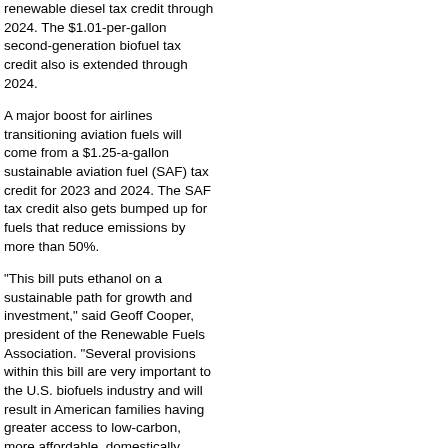renewable diesel tax credit through 2024. The $1.01-per-gallon second-generation biofuel tax credit also is extended through 2024.
A major boost for airlines transitioning aviation fuels will come from a $1.25-a-gallon sustainable aviation fuel (SAF) tax credit for 2023 and 2024. The SAF tax credit also gets bumped up for fuels that reduce emissions by more than 50%.
"This bill puts ethanol on a sustainable path for growth and investment," said Geoff Cooper, president of the Renewable Fuels Association. "Several provisions within this bill are very important to the U.S. biofuels industry and will result in American families having greater access to low-carbon, more affordable, domestically made renewable fuels."
Another $1 billion goes for loans for electric generation from